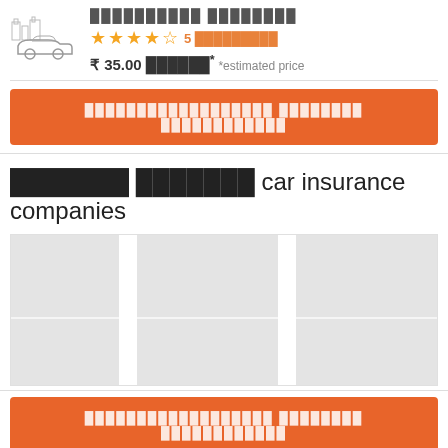██████████ ████████
★★★★½ 5 █████████
₹ 35.00 ██████* *estimated price
██████████████████ ████████ ████████████
███████ ███████ car insurance companies
[Figure (other): Grid of company logo placeholders - three columns of grey boxes]
██████████████████ ████████ ████████████